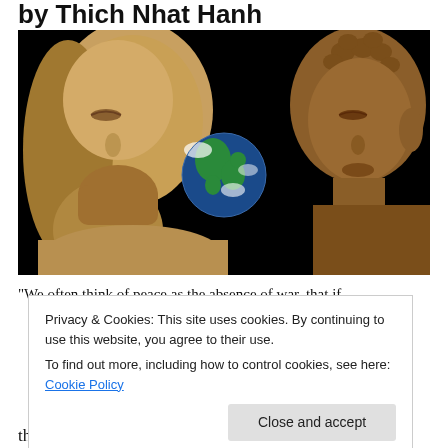by Thich Nhat Hanh
[Figure (photo): Composite photo of a Jesus Christ statue on the left, a Buddha statue on the right, and the Earth as seen from space in the center background, all against a black background.]
"We often think of peace as the absence of war, that if
Privacy & Cookies: This site uses cookies. By continuing to use this website, you agree to their use.
To find out more, including how to control cookies, see here: Cookie Policy
the moon, the roots of war and the roots of bombs are still